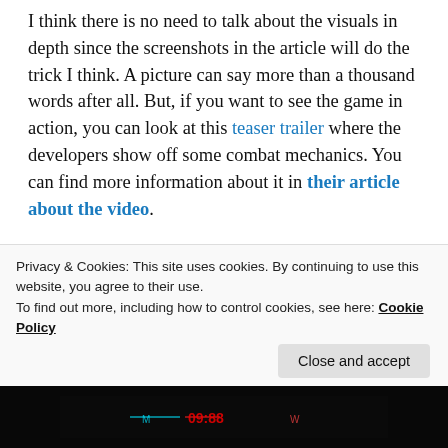I think there is no need to talk about the visuals in depth since the screenshots in the article will do the trick I think. A picture can say more than a thousand words after all. But, if you want to see the game in action, you can look at this teaser trailer where the developers show off some combat mechanics. You can find more information about it in their article about the video.
Something that gets me interested in the game is the fact that the wall jumping. This opens up the map in so many different directions and I can't wait to see how hectic matches can be online. Also, I like that there seems to be a 1st and 3rd person mode in the game. Personally, I like to play my shooters in 1st person, but if there is going to
Privacy & Cookies: This site uses cookies. By continuing to use this website, you agree to their use.
To find out more, including how to control cookies, see here: Cookie Policy
[Figure (screenshot): Dark screenshot of a game with red/cyan glowing text at the bottom of the page]